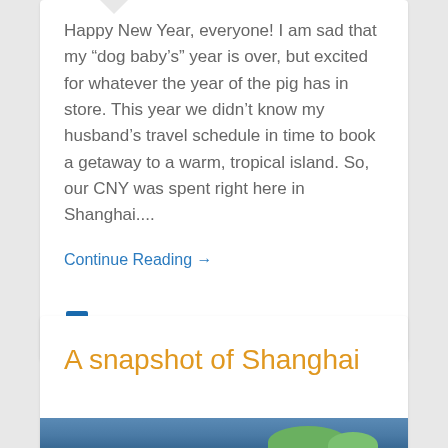Happy New Year, everyone! I am sad that my “dog baby’s” year is over, but excited for whatever the year of the pig has in store. This year we didn’t know my husband’s travel schedule in time to book a getaway to a warm, tropical island. So, our CNY was spent right here in Shanghai....
Continue Reading →
0
A snapshot of Shanghai
[Figure (photo): Partial view of a photo showing blue sky, water, and green trees at the bottom edge of the page]